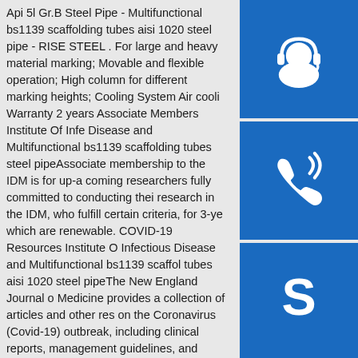Api 5l Gr.B Steel Pipe - Multifunctional bs1139 scaffolding tubes aisi 1020 steel pipe - RISE STEEL . For large and heavy material marking; Movable and flexible operation; High column for different marking heights; Cooling System Air cooli Warranty 2 years Associate Members Institute Of Infe Disease and Multifunctional bs1139 scaffolding tubes steel pipeAssociate membership to the IDM is for up-a coming researchers fully committed to conducting thei research in the IDM, who fulfill certain criteria, for 3-ye which are renewable. COVID-19 Resources Institute O Infectious Disease and Multifunctional bs1139 scaffol tubes aisi 1020 steel pipeThe New England Journal o Medicine provides a collection of articles and other res on the Coronavirus (Covid-19) outbreak, including clinical reports, management guidelines, and commentary.; The Lancet has created a Coronavirus Resource Centre with content from across its journals - as it is published.; Nature has granted free to access to the latest available COVID-19 related research Multifunctional bs1139 scaffolding tubes aisi 1020 steel pipe
[Figure (illustration): Three blue square buttons stacked vertically on the right side: headset/customer support icon, phone icon, and Skype icon]